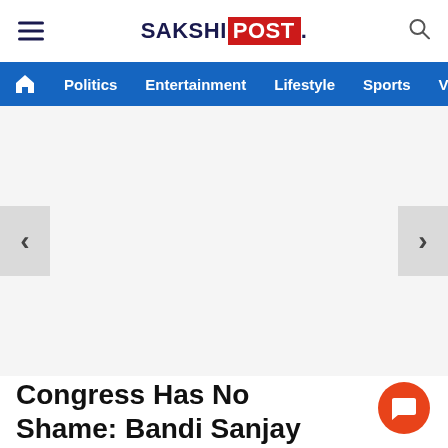SAKSHI POST
Politics  Entertainment  Lifestyle  Sports  Video
[Figure (other): Slideshow/carousel area with left and right navigation arrows, white background, no visible image content]
Congress Has No Shame: Bandi Sanjay Kumar on Rahul's Visit Osmania University